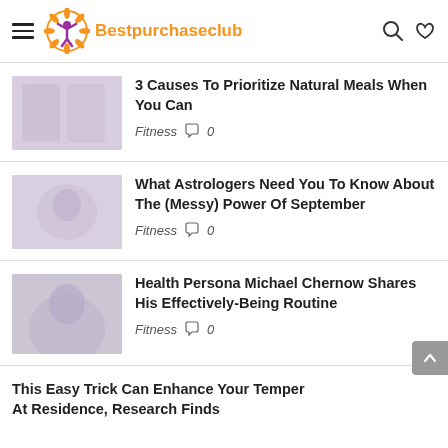Bestpurchaseclub
3 Causes To Prioritize Natural Meals When You Can — Fitness 0
What Astrologers Need You To Know About The (Messy) Power Of September — Fitness 0
Health Persona Michael Chernow Shares His Effectively-Being Routine — Fitness 0
This Easy Trick Can Enhance Your Temper At Residence, Research Finds